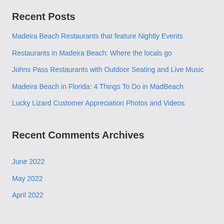Recent Posts
Madeira Beach Restaurants that feature Nightly Events
Restaurants in Madeira Beach: Where the locals go
Johns Pass Restaurants with Outdoor Seating and Live Music
Madeira Beach in Florida: 4 Things To Do in MadBeach
Lucky Lizard Customer Appreciation Photos and Videos
Recent Comments
Archives
June 2022
May 2022
April 2022